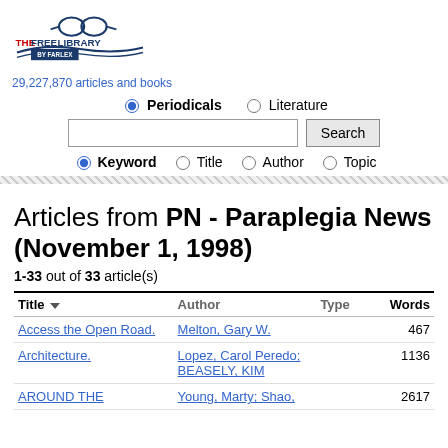[Figure (logo): The Free Library by Farlex logo with glasses and open book]
29,227,870 articles and books
Periodicals  Literature (radio buttons)
Search (button with text input)
Keyword  Title  Author  Topic (radio buttons)
Articles from PN - Paraplegia News (November 1, 1998)
1-33 out of 33 article(s)
| Title | Author | Type | Words |
| --- | --- | --- | --- |
| Access the Open Road. | Melton, Gary W. |  | 467 |
| Architecture. | Lopez, Carol Peredo; BEASELY, KIM |  | 1136 |
| AROUND THE | Young, Marty; Shao, |  | 2617 |